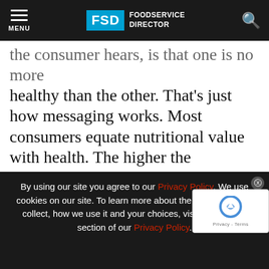FSD FOODSERVICE DIRECTOR
the consumer hears, is that one is no more healthy than the other. That’s just how messaging works. Most consumers equate nutritional value with health. The higher the nutritional content, the more healthy the food. This makes sense. So even though these studies may be technically accurate and not in any way intending to mislead, the message that received by the public is typically inaccur the message being “since there is no
By using our site you agree to our Privacy Policy. We use cookies on our site. To learn more about the information we collect, how we use it and your choices, visit the cookies section of our Privacy Policy.